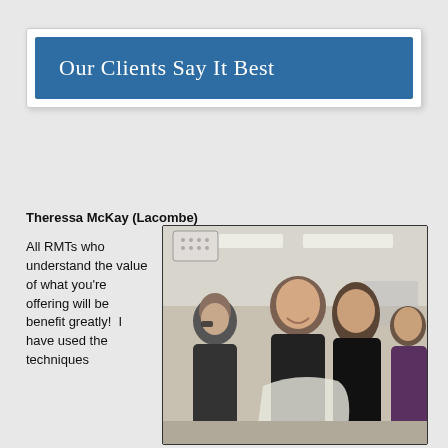Our Clients Say It Best
Theressa McKay (Lacombe)
All RMTs who understand the value of what you’re offering will be benefit greatly!  I have used the techniques
[Figure (photo): Photo of four women in what appears to be a healthcare or classroom setting, looking at something together. They are in a bright room with fluorescent lighting.]